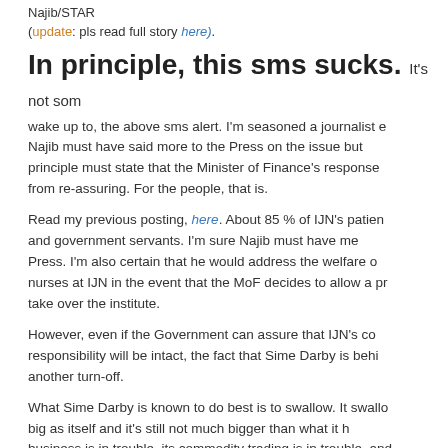Najib/STAR
(update: pls read full story here).
In principle, this sms sucks.
It's not something you want to wake up to, the above sms alert. I'm seasoned a journalist e... Najib must have said more to the Press on the issue but... principle must state that the Minister of Finance's response... from re-assuring. For the people, that is.
Read my previous posting, here. About 85 % of IJN's patien... and government servants. I'm sure Najib must have me... Press. I'm also certain that he would address the welfare o... nurses at IJN in the event that the MoF decides to allow a pr... take over the institute.
However, even if the Government can assure that IJN's co... responsibility will be intact, the fact that Sime Darby is behi... another turn-off.
What Sime Darby is known to do best is to swallow. It swallo... big as itself and it's still not much bigger than what it h... business is in trouble, its commodity trading is in trouble, and... in shit over the sacking of senior executives. Its human re... been dragged in court and so has the auditors. In short thi...